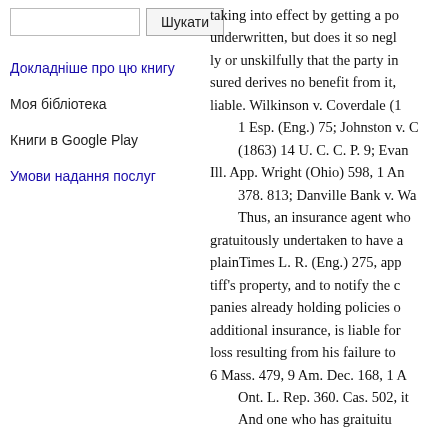Шукати (search box and button)
Докладніше про цю книгу
Моя бібліотека
Книги в Google Play
Умови надання послуг
taking into effect by getting a po underwritten, but does it so negly or unskilfully that the party insured derives no benefit from it, liable. Wilkinson v. Coverdale (1 1 Esp. (Eng.) 75; Johnston v. C (1863) 14 U. C. C. P. 9; Evan Ill. App. Wright (Ohio) 598, 1 An 378. 813; Danville Bank v. Wa Thus, an insurance agent who gratuitously undertaken to have a plainTimes L. R. (Eng.) 275, app tiff's property, and to notify the c panies already holding policies on additional insurance, is liable for loss resulting from his failure to 6 Mass. 479, 9 Am. Dec. 168, 1 A Ont. L. Rep. 360. Cas. 502, it And one who has gratuitu